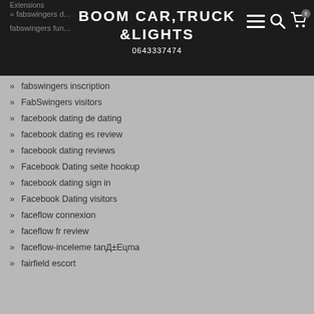BOOM CAR,TRUCK &LIGHTS
0643337474
fabswingers inscription
FabSwingers visitors
facebook dating de dating
facebook dating es review
facebook dating reviews
Facebook Dating seite hookup
facebook dating sign in
Facebook Dating visitors
faceflow connexion
faceflow fr review
faceflow-inceleme tanД±Eцma
fairfield escort